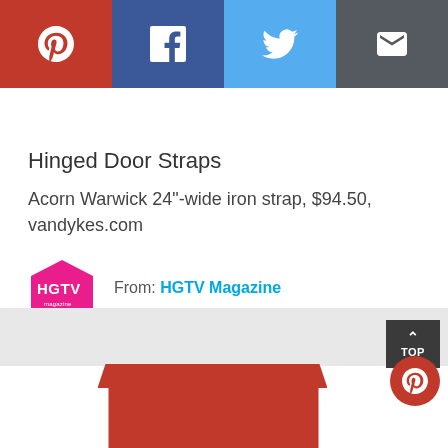[Figure (infographic): Social sharing bar with Pinterest (red), Facebook (dark blue), Twitter (light blue), and Email (dark gray) buttons with white icons]
Hinged Door Straps
Acorn Warwick 24"-wide iron strap, $94.50, vandykes.com
From: HGTV Magazine
[Figure (logo): HGTV Magazine logo — pink pentagon house shape with HGTV text]
[Figure (photo): Bottom portion of page showing a red box/chest partially visible, with a TOP button and Pinterest circle button overlay on right side]